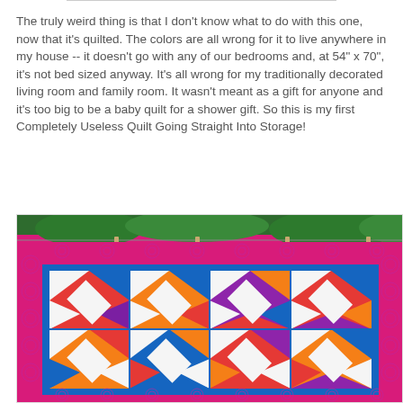The truly weird thing is that I don't know what to do with this one, now that it's quilted. The colors are all wrong for it to live anywhere in my house -- it doesn't go with any of our bedrooms and, at 54" x 70", it's not bed sized anyway. It's all wrong for my traditionally decorated living room and family room. It wasn't meant as a gift for anyone and it's too big to be a baby quilt for a shower gift. So this is my first Completely Useless Quilt Going Straight Into Storage!
[Figure (photo): A colorful patchwork quilt hanging on a clothesline outdoors. The quilt features a geometric star/diamond pattern made from vibrant multicolored fabrics in pinks, oranges, reds, blues, purples, and whites. It has a bright pink/magenta floral border and a blue inner border. The background shows green trees.]